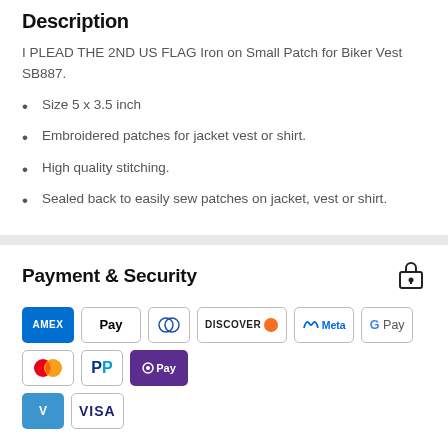Description
I PLEAD THE 2ND US FLAG Iron on Small Patch for Biker Vest SB887.
Size 5 x 3.5 inch
Embroidered patches for jacket vest or shirt.
High quality stitching.
Sealed back to easily sew patches on jacket, vest or shirt.
Payment & Security
[Figure (infographic): Payment method icons: Amex, Apple Pay, Diners Club, Discover, Meta Pay, Google Pay, Mastercard, PayPal, Shop Pay, Venmo, Visa]